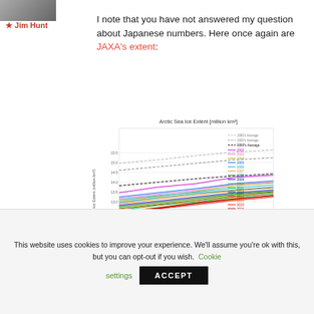[Figure (photo): Partial avatar/profile photo at top left]
★ Jim Hunt
I note that you have not answered my question about Japanese numbers. Here once again are JAXA's extent:
[Figure (line-chart): Multi-series line chart showing Arctic Sea Ice Extent from 02 Jan to 30 Jan, with lines for 1980s Average, 1990s Average, 2000s Average (dashed) and individual years 2002–2016 in various colors. Values range from about 12.5 to 15.5 million km².]
...JAXA's extent...
This website uses cookies to improve your experience. We'll assume you're ok with this, but you can opt-out if you wish.
Cookie settings
ACCEPT